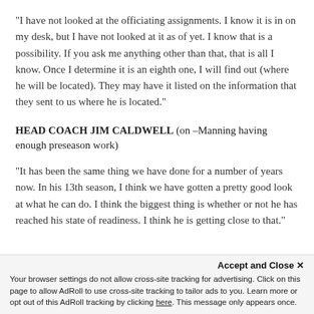"I have not looked at the officiating assignments. I know it is in on my desk, but I have not looked at it as of yet. I know that is a possibility. If you ask me anything other than that, that is all I know. Once I determine it is an eighth one, I will find out (where he will be located). They may have it listed on the information that they sent to us where he is located."
HEAD COACH JIM CALDWELL (on –Manning having enough preseason work)
"It has been the same thing we have done for a number of years now. In his 13th season, I think we have gotten a pretty good look at what he can do. I think the biggest thing is whether or not he has reached his state of readiness. I think he is getting close to that."
Accept and Close ×
Your browser settings do not allow cross-site tracking for advertising. Click on this page to allow AdRoll to use cross-site tracking to tailor ads to you. Learn more or opt out of this AdRoll tracking by clicking here. This message only appears once.